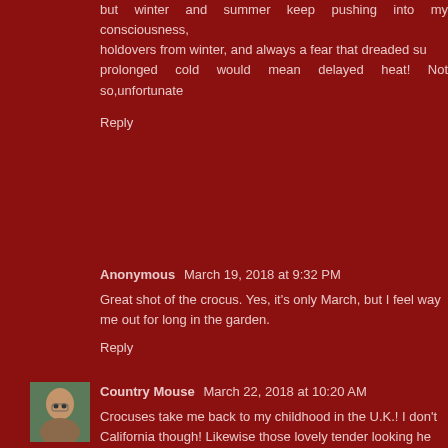but winter and summer keep pushing into my consciousness, holdovers from winter, and always a fear that dreaded su prolonged cold would mean delayed heat! Not so,unfortunate
Reply
Anonymous  March 19, 2018 at 9:32 PM
Great shot of the crocus. Yes, it's only March, but I feel way me out for long in the garden.
Reply
[Figure (photo): Avatar photo of Country Mouse - woman with glasses]
Country Mouse  March 22, 2018 at 10:20 AM
Crocuses take me back to my childhood in the U.K.! I don't California though! Likewise those lovely tender looking he hellebores - maybe there is a little niche where I could surp CA natives!
Reply
[Figure (photo): Avatar photo of Shirley - purple flower]
Shirley  March 22, 2018 at 2:28 PM
Lovely splashes of Spring colour, Lisa - loving your crocus there. Yours looks like one of my favs - Pickwick :-)